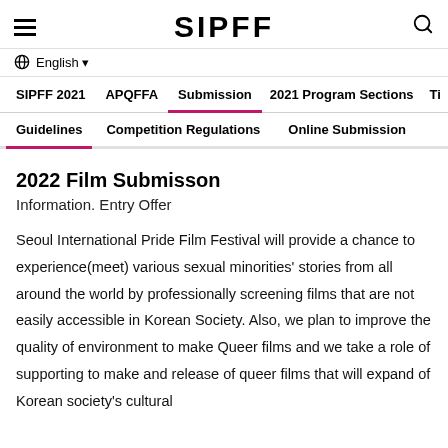SIPFF
English
SIPFF 2021 | APQFFA | Submission | 2021 Program Sections | Ti
Guidelines | Competition Regulations | Online Submission
2022 Film Submisson
Information. Entry Offer
Seoul International Pride Film Festival will provide a chance to experience(meet) various sexual minorities' stories from all around the world by professionally screening films that are not easily accessible in Korean Society. Also, we plan to improve the quality of environment to make Queer films and we take a role of supporting to make and release of queer films that will expand of Korean society's cultural